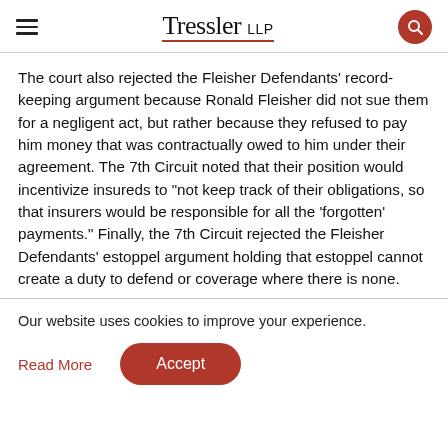Tressler LLP
The court also rejected the Fleisher Defendants' record-keeping argument because Ronald Fleisher did not sue them for a negligent act, but rather because they refused to pay him money that was contractually owed to him under their agreement. The 7th Circuit noted that their position would incentivize insureds to "not keep track of their obligations, so that insurers would be responsible for all the 'forgotten' payments." Finally, the 7th Circuit rejected the Fleisher Defendants' estoppel argument holding that estoppel cannot create a duty to defend or coverage where there is none.
Our website uses cookies to improve your experience.
Read More
Accept